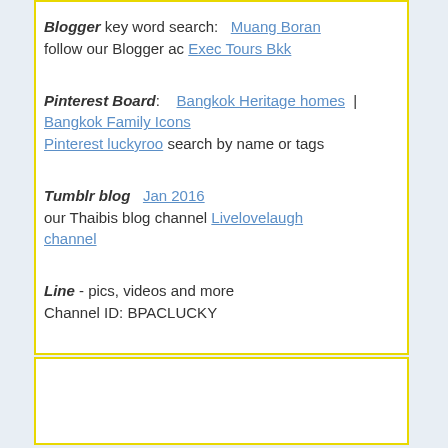Blogger key word search: Muang Boran follow our Blogger ac Exec Tours Bkk
Pinterest Board: Bangkok Heritage homes | Bangkok Family Icons Pinterest luckyroo search by name or tags
Tumblr blog Jan 2016 our Thaibis blog channel Livelovelaugh channel
Line - pics, videos and more Channel ID: BPACLUCKY